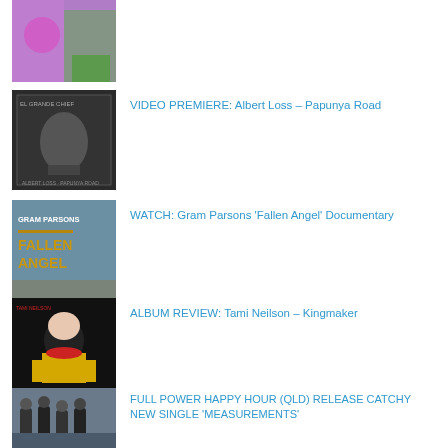[Figure (photo): Album/artist thumbnail image with purple floral background]
[Figure (photo): Dark album cover with illustrated figure, Albert Loss – Papunya Road]
VIDEO PREMIERE: Albert Loss – Papunya Road
[Figure (photo): Gram Parsons Fallen Angel documentary cover with blue-grey background and golden lettering]
WATCH: Gram Parsons 'Fallen Angel' Documentary
[Figure (photo): Tami Neilson Kingmaker album cover with stylized portrait on dark background]
ALBUM REVIEW: Tami Neilson – Kingmaker
[Figure (photo): Band photo of Full Power Happy Hour group standing together]
FULL POWER HAPPY HOUR (QLD) RELEASE CATCHY NEW SINGLE 'MEASUREMENTS'